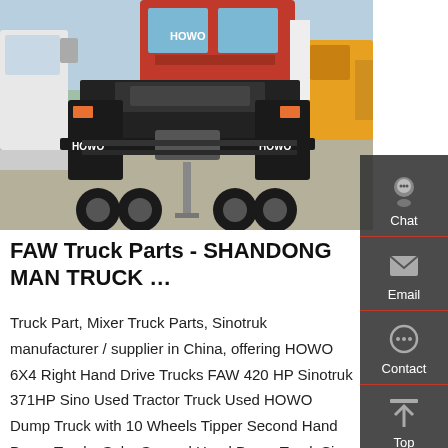[Figure (photo): Rear view of a HOWO brand heavy truck (tractor unit) parked in a lot with other trucks and construction vehicles. The truck has 'HOWO' lettering on its mud flaps. Red and yellow/orange trucks visible in the background.]
FAW Truck Parts - SHANDONG MAN TRUCK …
Truck Part, Mixer Truck Parts, Sinotruk manufacturer / supplier in China, offering HOWO 6X4 Right Hand Drive Trucks FAW 420 HP Sinotruk 371HP Sino Used Tractor Truck Used HOWO Dump Truck with 10 Wheels Tipper Second Hand Dump Trucks Sale, Second Hand Dump Truck Sino Sinotruk HOWO